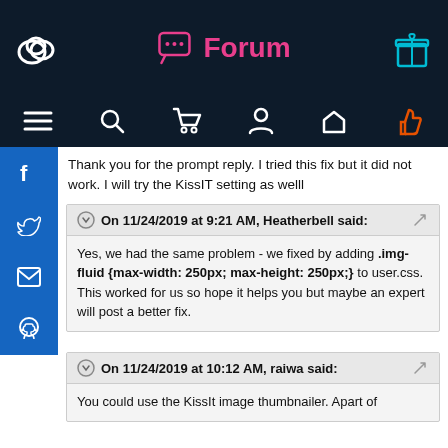[Figure (screenshot): Website top navigation bar with dark background showing Forum title in pink, cloud logo on left, gift box icon on right]
[Figure (screenshot): Secondary navigation row with hamburger menu, search, cart, user, home, and thumbs-up icons on dark background]
[Figure (screenshot): Blue vertical social sidebar with Facebook, Twitter, email, and GitHub icons]
Thank you for the prompt reply. I tried this fix but it did not work. I will try the KissIT setting as welll
On 11/24/2019 at 9:21 AM, Heatherbell said: Yes, we had the same problem - we fixed by adding .img-fluid {max-width: 250px; max-height: 250px;} to user.css. This worked for us so hope it helps you but maybe an expert will post a better fix.
On 11/24/2019 at 10:12 AM, raiwa said: You could use the KissIt image thumbnailer. Apart of